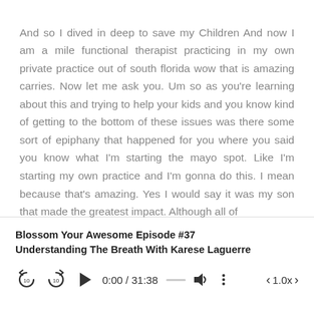And so I dived in deep to save my Children And now I am a mile functional therapist practicing in my own private practice out of south florida wow that is amazing carries. Now let me ask you. Um so as you're learning about this and trying to help your kids and you know kind of getting to the bottom of these issues was there some sort of epiphany that happened for you where you said you know what I'm starting the mayo spot. Like I'm starting my own practice and I'm gonna do this. I mean because that's amazing. Yes I would say it was my son that made the greatest impact. Although all of
Blossom Your Awesome Episode #37 Understanding The Breath With Karese Laguerre
[Figure (other): Podcast audio player controls showing replay 10s, forward 10s, play button, time 0:00/31:38, progress bar, volume, menu, and playback speed 1.0x]